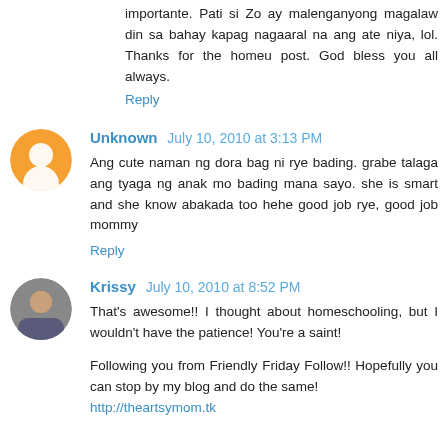importante. Pati si Zo ay malenganyong magalaw din sa bahay kapag nagaaral na ang ate niya, lol. Thanks for the homeu post. God bless you all always.
Reply
Unknown July 10, 2010 at 3:13 PM
Ang cute naman ng dora bag ni rye bading. grabe talaga ang tyaga ng anak mo bading mana sayo. she is smart and she know abakada too hehe good job rye, good job mommy
Reply
Krissy July 10, 2010 at 8:52 PM
That's awesome!! I thought about homeschooling, but I wouldn't have the patience! You're a saint!
Following you from Friendly Friday Follow!! Hopefully you can stop by my blog and do the same! http://theartsymom.tk